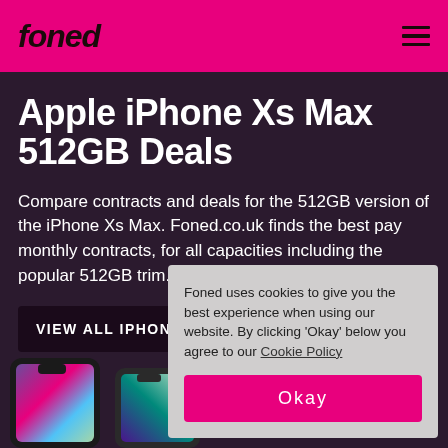foned
Apple iPhone Xs Max 512GB Deals
Compare contracts and deals for the 512GB version of the iPhone Xs Max. Foned.co.uk finds the best pay monthly contracts, for all capacities including the popular 512GB trim.
VIEW ALL IPHONE XS MAX DEALS →
[Figure (photo): Partial view of an Apple iPhone Xs Max phone at the bottom left of the page]
Foned uses cookies to give you the best experience when using our website. By clicking 'Okay' below you agree to our Cookie Policy
Okay